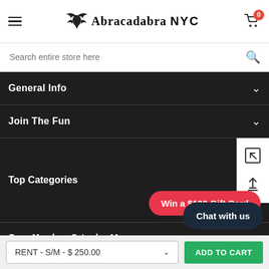Abracadabra NYC — Navigation header with hamburger menu and cart
Search entire store here
General Info
Join The Fun
Top Categories
Open Monday - Saturday 11am - 7pm
19 W 21ST STREET NYC
Win a $100 Gift Card
Chat with us
RENT - S/M - $ 250.00
ADD TO CART